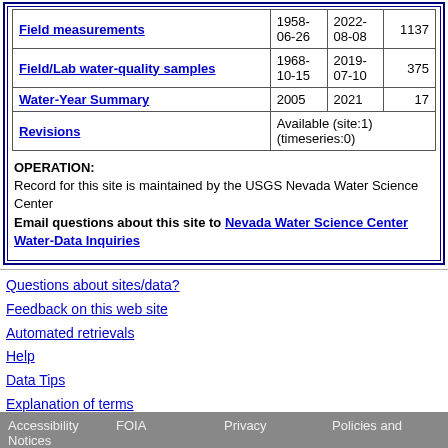|  | Start | End | Count |
| --- | --- | --- | --- |
| Field measurements | 1958-06-26 | 2022-08-08 | 1137 |
| Field/Lab water-quality samples | 1968-10-15 | 2019-07-10 | 375 |
| Water-Year Summary | 2005 | 2021 | 17 |
| Revisions | Available (site:1) (timeseries:0) |  |  |
OPERATION: Record for this site is maintained by the USGS Nevada Water Science Center
Email questions about this site to Nevada Water Science Center Water-Data Inquiries
Questions about sites/data?
Feedback on this web site
Automated retrievals
Help
Data Tips
Explanation of terms
Subscribe for system changes
News
Accessibility Notices   FOIA   Privacy   Policies and